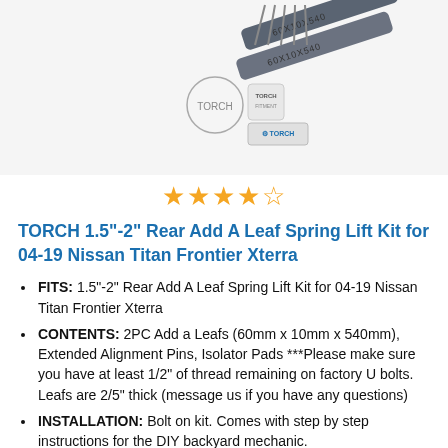[Figure (photo): Product photo showing TORCH leaf spring add-a-leaf kit with two dark gray leaf springs and brand logos on a white background]
[Figure (other): 4.5 out of 5 star rating displayed as golden stars]
TORCH 1.5"-2" Rear Add A Leaf Spring Lift Kit for 04-19 Nissan Titan Frontier Xterra
FITS: 1.5"-2" Rear Add A Leaf Spring Lift Kit for 04-19 Nissan Titan Frontier Xterra
CONTENTS: 2PC Add a Leafs (60mm x 10mm x 540mm), Extended Alignment Pins, Isolator Pads ***Please make sure you have at least 1/2" of thread remaining on factory U bolts. Leafs are 2/5" thick (message us if you have any questions)
INSTALLATION: Bolt on kit. Comes with step by step instructions for the DIY backyard mechanic.
Ships Same/Next Business Day. 2-3 Day